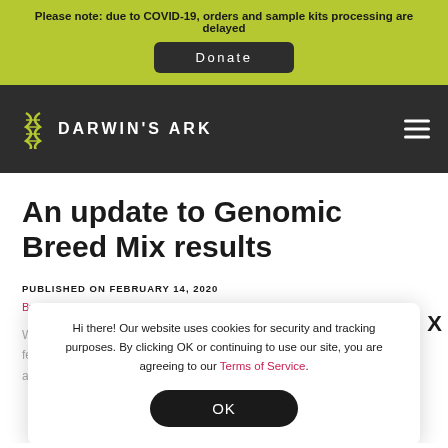Please note: due to COVID-19, orders and sample kits processing are delayed
[Figure (logo): Darwin's Ark logo with stylized DNA double helix icon and text DARWIN'S ARK in white on dark background]
An update to Genomic Breed Mix results
PUBLISHED ON FEBRUARY 14, 2020
By Kathleen Morrill
Hi there! Our website uses cookies for security and tracking purposes. By clicking OK or continuing to use our site, you are agreeing to our Terms of Service.
We have rolled out updated Genomic Breed Mix results, featuring a new method to estimate your dog's ancestry. By expanding the breed reference panel, we can